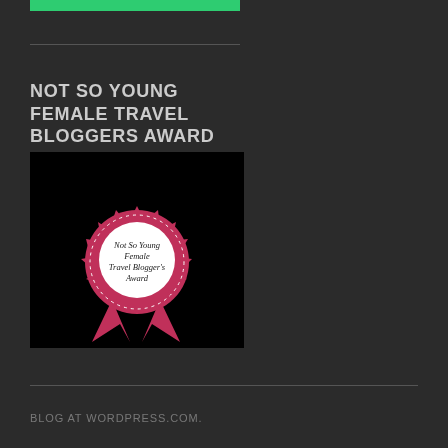[Figure (other): Green horizontal bar at top of page]
[Figure (illustration): Award badge image on black background: a red/pink rosette ribbon badge with white circular center reading 'Not So Young Female Travel Blogger's Award' in dark text, with ribbon tails below]
NOT SO YOUNG FEMALE TRAVEL BLOGGERS AWARD
BLOG AT WORDPRESS.COM.